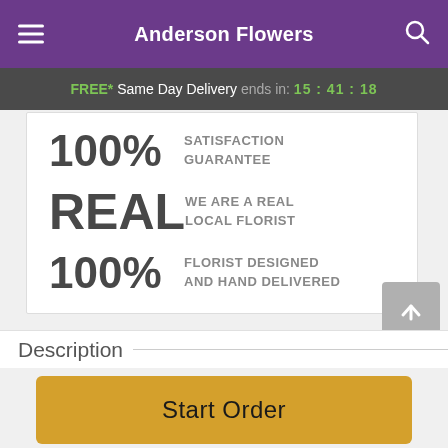Anderson Flowers
FREE* Same Day Delivery ends in: 15:41:18
[Figure (infographic): Three guarantee statements: 100% SATISFACTION GUARANTEE, REAL WE ARE A REAL LOCAL FLORIST, 100% FLORIST DESIGNED AND HAND DELIVERED]
Description
Start Order